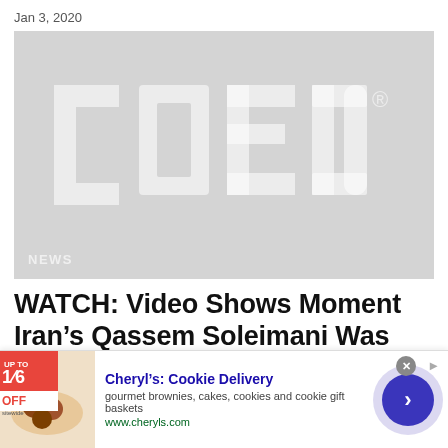Jan 3, 2020
[Figure (logo): COED logo watermark on grey background with NEWS label at bottom left]
WATCH: Video Shows Moment Iran’s Qassem Soleimani Was Killed in Airstrike
[Figure (infographic): Advertisement banner for Cheryl's Cookie Delivery — gourmet brownies, cakes, cookies and cookie gift baskets, www.cheryls.com]